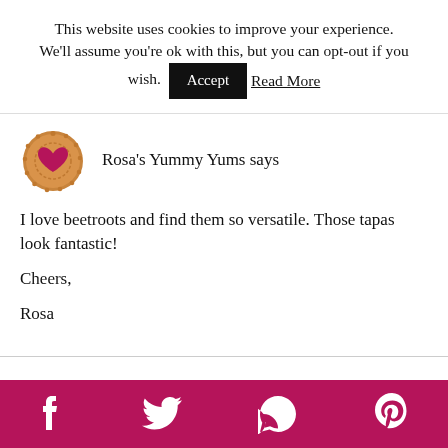This website uses cookies to improve your experience. We'll assume you're ok with this, but you can opt-out if you wish. [Accept] Read More
Rosa's Yummy Yums says
[Figure (illustration): Round cookie/biscuit avatar with a heart shape in the center, warm brown tones]
I love beetroots and find them so versatile. Those tapas look fantastic!

Cheers,

Rosa
[Figure (infographic): Social share bar with Facebook, Twitter, WhatsApp, and Pinterest icons on a dark pink/magenta background]